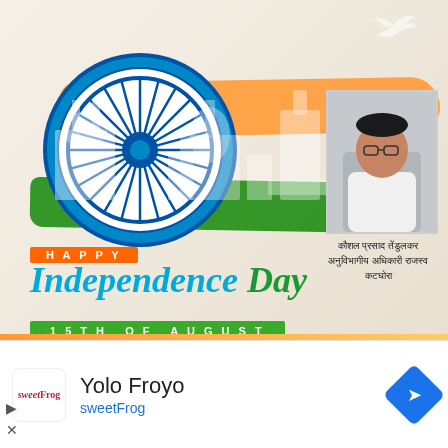[Figure (illustration): Indian Independence Day celebration graphic with Ashoka Chakra (wheel), Indian flag colors (saffron, white, green brushstrokes), white silhouettes of monuments (mosque, tower), a portrait photo of a man in white shirt seated at desk, Hindi text caption identifying him as Kaushal Prasad Tendulkar, Revenue Sub-divisional Officer, Katghora. Text overlays: 'HAPPY' in orange banner, 'Independence Day' in blue-green italic script, '15TH OF AUGUST' in green banner.]
कौशल प्रसाद तेंडुलकर
अनुविभागीय अधिकारी राजस्व
कटघोरा
Yolo Froyo
sweetFrog